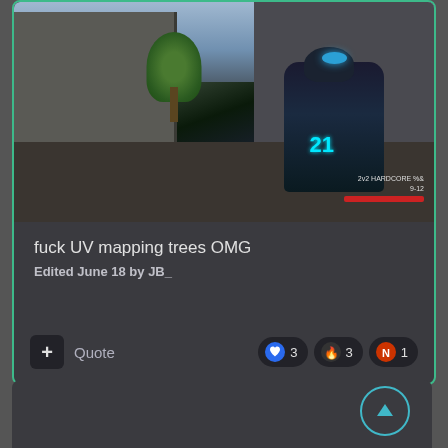[Figure (screenshot): First-person shooter game screenshot showing a soldier with blue visor light in a dark environment with a tree visible and HUD showing '21' in cyan and '2v2 HARDCORE' game mode with health bar]
fuck UV mapping trees OMG
Edited June 18 by JB_
+ Quote
3
3
1
[Figure (screenshot): Partial view of another post card at the bottom of the screen with a scroll-to-top circular button]